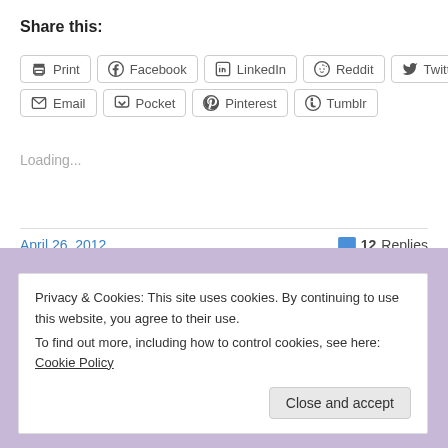Share this:
Print
Facebook
LinkedIn
Reddit
Twitter
Email
Pocket
Pinterest
Tumblr
Loading...
April 26, 2012
12 Replies
Privacy & Cookies: This site uses cookies. By continuing to use this website, you agree to their use.
To find out more, including how to control cookies, see here: Cookie Policy
Close and accept